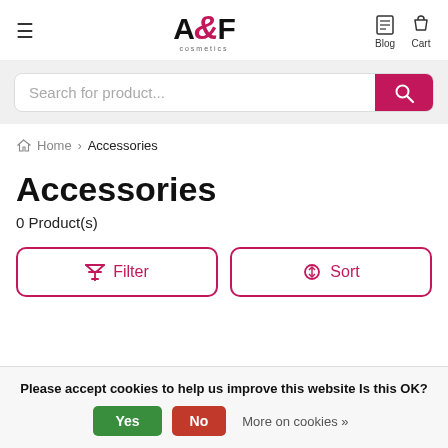≡  A&F cosmetics  Blog  Cart
Search for product...
Home > Accessories
Accessories
0 Product(s)
Filter  Sort
Please accept cookies to help us improve this website Is this OK?  Yes  No  More on cookies »